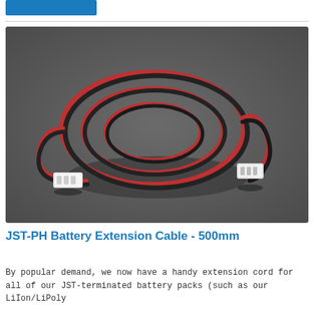[Figure (photo): Photo of JST-PH Battery Extension Cable 500mm — a coiled red and black two-wire cable with white JST-PH connectors on each end, photographed on a dark gray background.]
JST-PH Battery Extension Cable - 500mm
By popular demand, we now have a handy extension cord for all of our JST-terminated battery packs (such as our LiIon/LiPoly